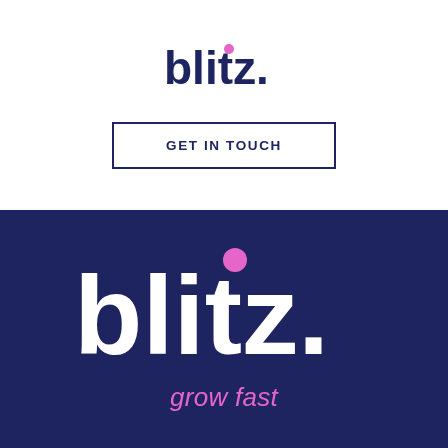[Figure (logo): Blitz logo in dark navy blue with pink dot above the letter i, on white background]
GET IN TOUCH
[Figure (logo): Large Blitz logo in white with pink dot above the letter i, on dark navy background, with tagline 'grow fast' in pink italic text below]